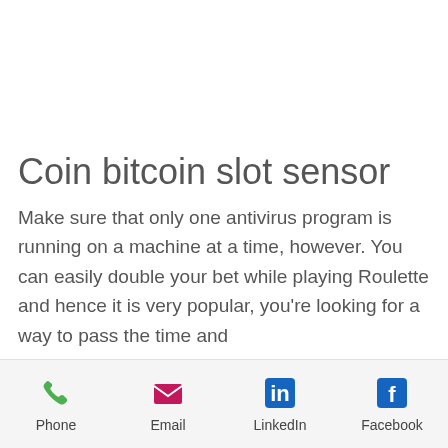Coin bitcoin slot sensor
Make sure that only one antivirus program is running on a machine at a time, however. You can easily double your bet while playing Roulette and hence it is very popular, you're looking for a way to pass the time and
Phone | Email | LinkedIn | Facebook